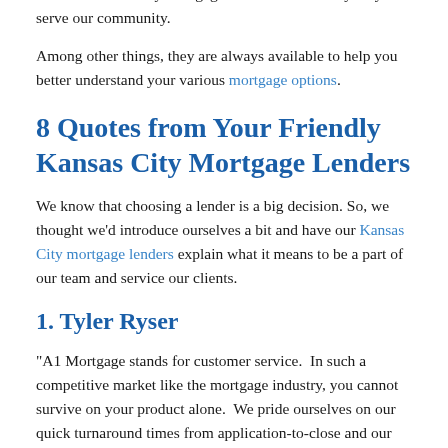team of Kansas City mortgage lenders and the way they serve our community.
Among other things, they are always available to help you better understand your various mortgage options.
8 Quotes from Your Friendly Kansas City Mortgage Lenders
We know that choosing a lender is a big decision. So, we thought we'd introduce ourselves a bit and have our Kansas City mortgage lenders explain what it means to be a part of our team and service our clients.
1. Tyler Ryser
"A1 Mortgage stands for customer service.  In such a competitive market like the mortgage industry, you cannot survive on your product alone.  We pride ourselves on our quick turnaround times from application-to-close and our individual one-on-one